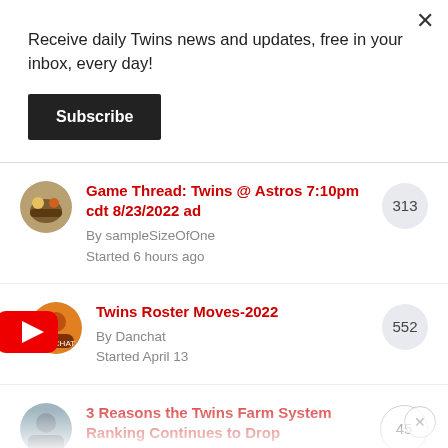×
Receive daily Twins news and updates, free in your inbox, every day!
Subscribe
Game Thread: Twins @ Astros 7:10pm cdt 8/23/2022 ad — By sampleSizeOfOne — Started 6 hours ago — 313
Twins Roster Moves-2022 — By Danchat — Started April 13 — 552
3 Reasons the Twins Farm System Ranking Continues to Drop — By Cody Christie — Started Sunday at 11:30 AM — 45